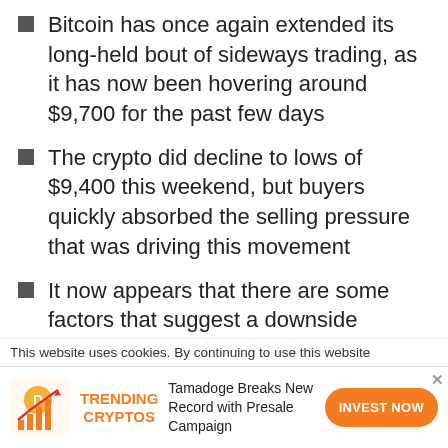Bitcoin has once again extended its long-held bout of sideways trading, as it has now been hovering around $9,700 for the past few days
The crypto did decline to lows of $9,400 this weekend, but buyers quickly absorbed the selling pressure that was driving this movement
It now appears that there are some factors that suggest a downside movement could be imminent
If these factors are enough to shatter a key trendline Bitcoin bulls have been defending, it
This website uses cookies. By continuing to use this website
[Figure (infographic): Advertisement banner: Tamadoge Breaks New Record with Presale Campaign. Trending Cryptos label in orange. Invest Now button in orange.]